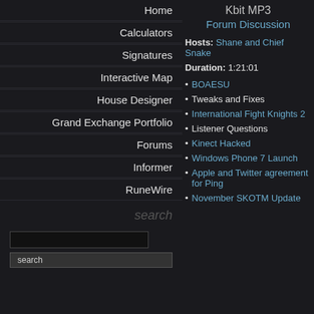Home
Calculators
Signatures
Interactive Map
House Designer
Grand Exchange Portfolio
Forums
Informer
RuneWire
search
Kbit MP3
Forum Discussion
Hosts: Shane and Chief Snake
Duration: 1:21:01
BOAESU
Tweaks and Fixes
International Fight Knights 2
Listener Questions
Kinect Hacked
Windows Phone 7 Launch
Apple and Twitter agreement for Ping
November SKOTM Update